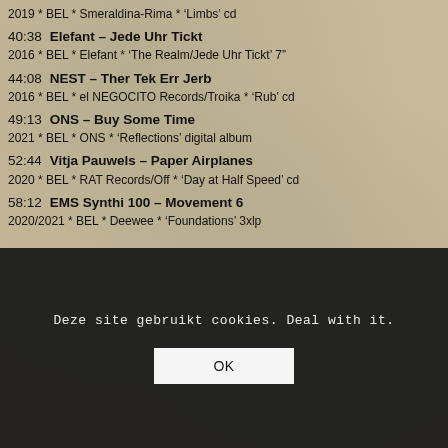2019 * BEL * Smeraldina-Rima * 'Limbs' cd
40:38  Elefant – Jede Uhr Tickt
2016 * BEL * Elefant * 'The Realm/Jede Uhr Tickt' 7"
44:08  NEST – Ther Tek Err Jerb
2016 * BEL * el NEGOCITO Records/Troika * 'Rub' cd
49:13  ONS – Buy Some Time
2021 * BEL * ONS * 'Reflections' digital album
52:44  Vitja Pauwels – Paper Airplanes
2020 * BEL * RAT Records/Off * 'Day at Half Speed' cd
58:12  EMS Synthi 100 – Movement 6
2020/2021 * BEL * Deewee * 'Foundations' 3xlp
Deze site gebruikt cookies. Deal with it.
OK